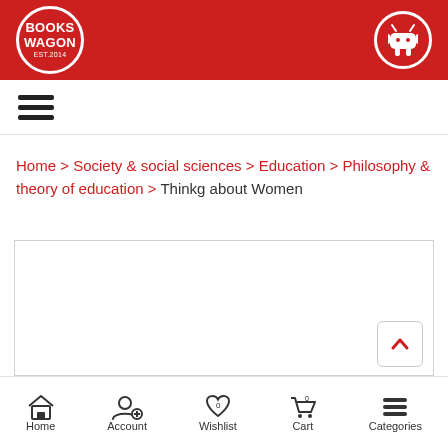Books Wagon | Android app icon
[Figure (screenshot): Hamburger menu icon (three horizontal lines)]
Home > Society & social sciences > Education > Philosophy & theory of education > Thinkg about Women
[Figure (photo): Product image area (empty white box with border)]
Home | Account | Wishlist | Cart | Categories